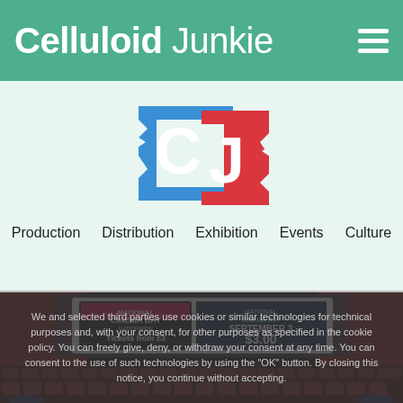Celluloid Junkie
[Figure (logo): CJ logo — blue ticket stub with white C and red ticket stub with white J]
Production    Distribution    Exhibition    Events    Culture
[Figure (screenshot): Cinema interior with red curtains and seats, showing National Cinema Day promotional screens with 'Tickets from £3' and 'September 3 $3.00' overlaid with a cookie consent notice]
We and selected third parties use cookies or similar technologies for technical purposes and, with your consent, for other purposes as specified in the cookie policy. You can freely give, deny, or withdraw your consent at any time. You can consent to the use of such technologies by using the "OK" button. By closing this notice, you continue without accepting.